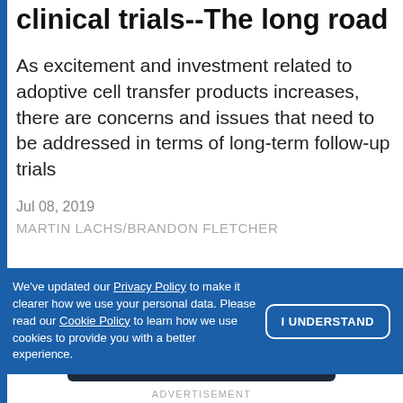Guest Commentary: ACT clinical trials--The long road
As excitement and investment related to adoptive cell transfer products increases, there are concerns and issues that need to be addressed in terms of long-term follow-up trials
Jul 08, 2019
MARTIN LACHS/BRANDON FLETCHER
We've updated our Privacy Policy to make it clearer how we use your personal data. Please read our Cookie Policy to learn how we use cookies to provide you with a better experience.
I UNDERSTAND
[Figure (logo): Cell Signaling Technology logo with tree/branch icon on dark navy background]
ADVERTISEMENT